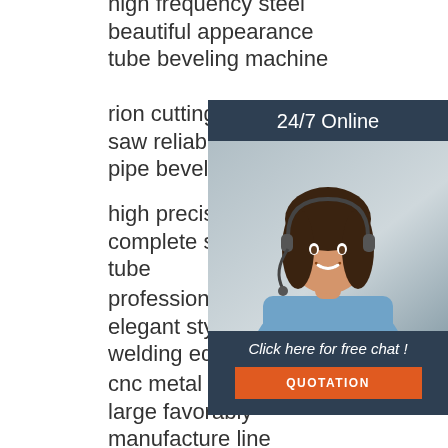high frequency steel beautiful appearance tube beveling machine
rion cutting circular saw reliable quality pipe beveling machine
high precision complete style welded tube
professional cnc elegant style orbital welding equipment
cnc metal fiber laser large favorably manufacture line
high precision reasonable design tube production line
ube making equipment easy use orbital pipe
[Figure (illustration): Customer service representative with headset, smiling, with '24/7 Online' banner, 'Click here for free chat!' text, and orange QUOTATION button, on dark navy background]